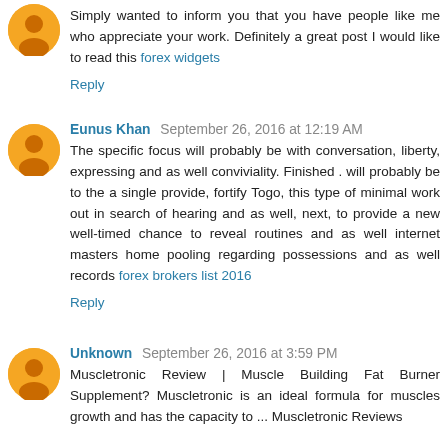Simply wanted to inform you that you have people like me who appreciate your work. Definitely a great post I would like to read this forex widgets
Reply
Eunus Khan September 26, 2016 at 12:19 AM
The specific focus will probably be with conversation, liberty, expressing and as well conviviality. Finished . will probably be to the a single provide, fortify Togo, this type of minimal work out in search of hearing and as well, next, to provide a new well-timed chance to reveal routines and as well internet masters home pooling regarding possessions and as well records forex brokers list 2016
Reply
Unknown September 26, 2016 at 3:59 PM
Muscletronic Review | Muscle Building Fat Burner Supplement? Muscletronic is an ideal formula for muscles growth and has the capacity to ... Muscletronic Reviews